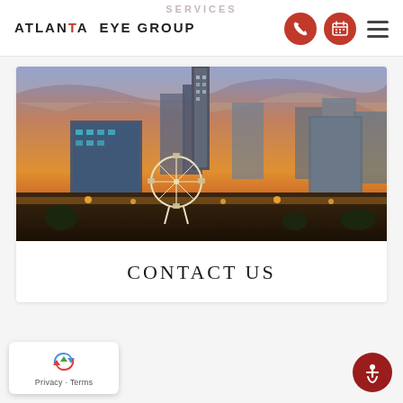SERVICES
ATLANTA EYE GROUP
[Figure (photo): Atlanta city skyline at dusk/twilight with skyscrapers, a Ferris wheel in the foreground, colorful sunset sky with warm orange and purple tones]
CONTACT US
[Figure (logo): Google reCAPTCHA badge with recycling arrow logo and Privacy - Terms text]
[Figure (other): Accessibility button - circular dark red button with person/wheelchair accessibility icon]